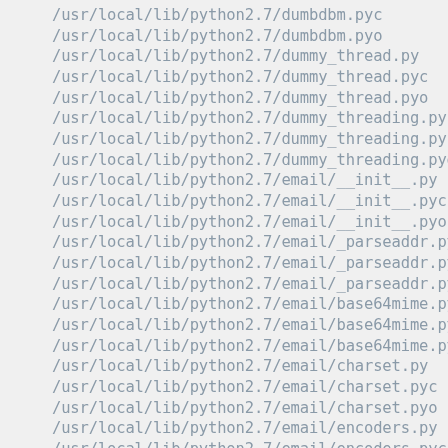/usr/local/lib/python2.7/dumbdbm.pyc
/usr/local/lib/python2.7/dumbdbm.pyo
/usr/local/lib/python2.7/dummy_thread.py
/usr/local/lib/python2.7/dummy_thread.pyc
/usr/local/lib/python2.7/dummy_thread.pyo
/usr/local/lib/python2.7/dummy_threading.py
/usr/local/lib/python2.7/dummy_threading.pyc
/usr/local/lib/python2.7/dummy_threading.pyo
/usr/local/lib/python2.7/email/__init__.py
/usr/local/lib/python2.7/email/__init__.pyc
/usr/local/lib/python2.7/email/__init__.pyo
/usr/local/lib/python2.7/email/_parseaddr.py
/usr/local/lib/python2.7/email/_parseaddr.pyc
/usr/local/lib/python2.7/email/_parseaddr.pyo
/usr/local/lib/python2.7/email/base64mime.py
/usr/local/lib/python2.7/email/base64mime.pyc
/usr/local/lib/python2.7/email/base64mime.pyo
/usr/local/lib/python2.7/email/charset.py
/usr/local/lib/python2.7/email/charset.pyc
/usr/local/lib/python2.7/email/charset.pyo
/usr/local/lib/python2.7/email/encoders.py
/usr/local/lib/python2.7/email/encoders.pyc
/usr/local/lib/python2.7/email/encoders.pyo